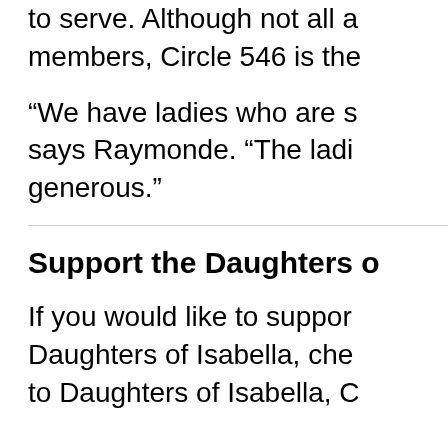to serve. Although not all a members, Circle 546 is the
“We have ladies who are s says Raymonde. “The ladi generous.”
Support the Daughters o
If you would like to suppor Daughters of Isabella, che to Daughters of Isabella, C